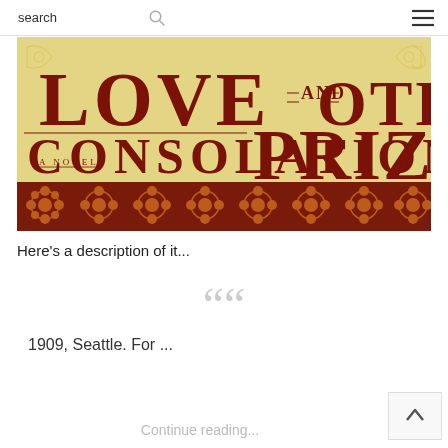search  ☰
[Figure (illustration): Book cover of 'Love and Other Consolation Prizes' - A Novel. Yellow/cream background with large dark red serif lettering. Bottom portion has dark red background with ornate orange floral pattern.]
Here's a description of it...
““
1909, Seattle. For ...
Continue reading...